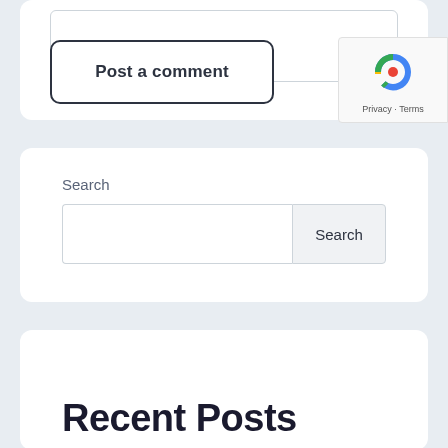[Figure (screenshot): Partial comment form textarea at top of page]
Post a comment
Search
[Figure (screenshot): Search input field with Search button]
Recent Posts
[Figure (other): reCAPTCHA badge with Privacy and Terms links]